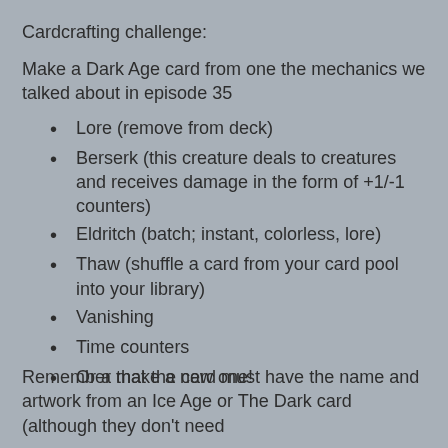Cardcrafting challenge:
Make a Dark Age card from one the mechanics we talked about in episode 35
Lore (remove from deck)
Berserk (this creature deals to creatures and receives damage in the form of +1/-1 counters)
Eldritch (batch; instant, colorless, lore)
Thaw (shuffle a card from your card pool into your library)
Vanishing
Time counters
Or a make a new one!
Remember that the card must have the name and artwork from an Ice Age or The Dark card (although they don't need